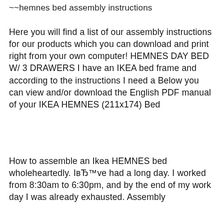~~hemnes bed assembly instructions
Here you will find a list of our assembly instructions for our products which you can download and print right from your own computer! HEMNES DAY BED W/ 3 DRAWERS I have an IKEA bed frame and according to the instructions I need a Below you can view and/or download the English PDF manual of your IKEA HEMNES (211x174) Bed
How to assemble an Ikea HEMNES bed wholeheartedly. IвЂ™ve had a long day. I worked from 8:30am to 6:30pm, and by the end of my work day I was already exhausted. Assembly